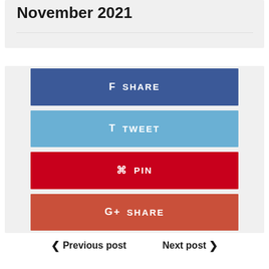November 2021
[Figure (infographic): Social sharing buttons: Facebook Share, Twitter Tweet, Pinterest Pin, Google+ Share]
Previous post
Next post
[Figure (photo): Bottom image strip with two colored sections: dark maroon and muted rose]